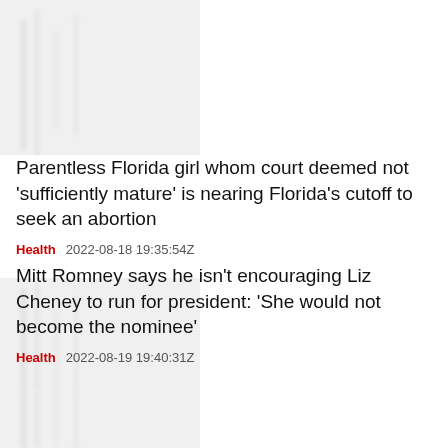[Figure (photo): Blurred/cropped thumbnail image for first article]
Parentless Florida girl whom court deemed not 'sufficiently mature' is nearing Florida's cutoff to seek an abortion
Health   2022-08-18 19:35:54Z
[Figure (photo): Blurred/cropped thumbnail image for second article]
Mitt Romney says he isn't encouraging Liz Cheney to run for president: 'She would not become the nominee'
Health   2022-08-19 19:40:31Z
[Figure (photo): Blurred/cropped thumbnail image for third article (partial)]